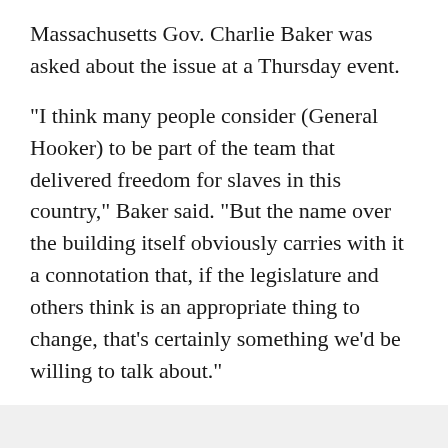Massachusetts Gov. Charlie Baker was asked about the issue at a Thursday event.
"I think many people consider (General Hooker) to be part of the team that delivered freedom for slaves in this country," Baker said. "But the name over the building itself obviously carries with it a connotation that, if the legislature and others think is an appropriate thing to change, that's certainly something we'd be willing to talk about."
A rumor also swirled that the slang word "hooker" came to be based on a group of women prostitutes who used to follow General Hooker around during the Civil War.